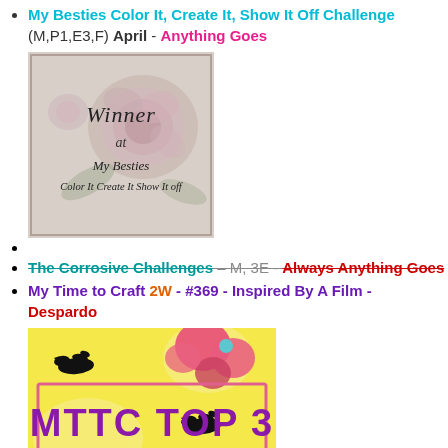My Besties Color It, Create It, Show It Off Challenge (M,P1,E3,F) April - Anything Goes
[Figure (illustration): Winner badge for My Besties Color It Create It Show It Off challenge - vintage floral design with text 'Winner at My Besties Color It Create It Show It Off']
(empty bullet)
The Corrosive Challenges - M, 3E - Always Anything Goes (strikethrough text)
My Time to Craft 2W - #369 - Inspired By A Film - Despardo
[Figure (illustration): MTTC TOP 3 badge - yellow background with pink flowers, birds, and text 'MTTC TOP 3']
(empty bullet)